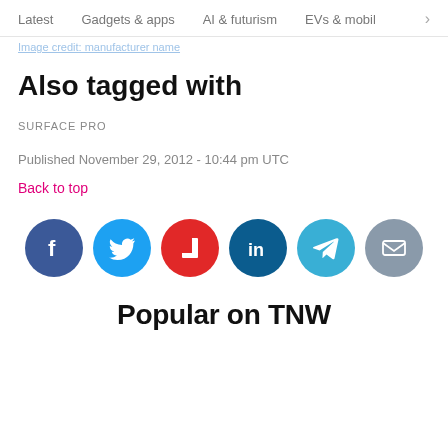Latest   Gadgets & apps   AI & futurism   EVs & mobil >
Image credit: manufacturer name
Also tagged with
SURFACE PRO
Published November 29, 2012 - 10:44 pm UTC
Back to top
[Figure (infographic): Row of six social media sharing icons: Facebook (blue), Twitter (blue), Flipboard (red), LinkedIn (dark blue), Telegram (light blue), Email (grey)]
Popular on TNW